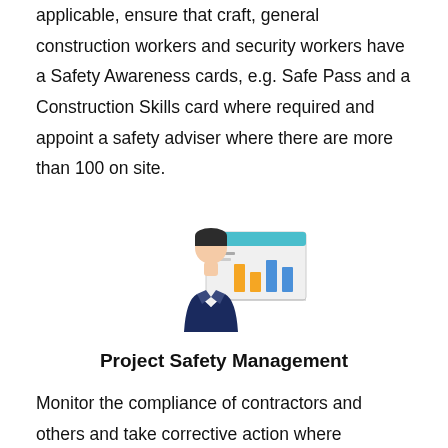applicable, ensure that craft, general construction workers and security workers have a Safety Awareness cards, e.g. Safe Pass and a Construction Skills card where required and appoint a safety adviser where there are more than 100 on site.
[Figure (illustration): An illustration of a business person in a dark suit standing in front of a bar chart presentation board showing colored bars (orange and blue).]
Project Safety Management
Monitor the compliance of contractors and others and take corrective action where necessary; notify the statutory and other officers of any non-compliance with